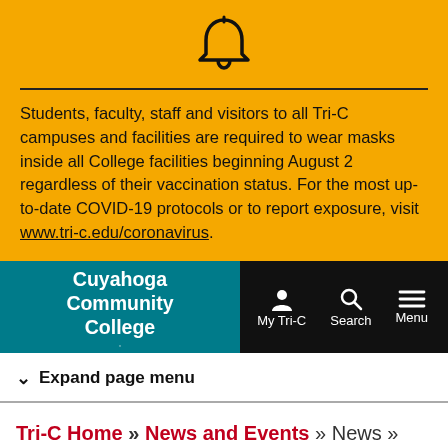[Figure (infographic): Bell icon on yellow/amber background, representing an alert notification]
Students, faculty, staff and visitors to all Tri-C campuses and facilities are required to wear masks inside all College facilities beginning August 2 regardless of their vaccination status. For the most up-to-date COVID-19 protocols or to report exposure, visit www.tri-c.edu/coronavirus.
[Figure (logo): Cuyahoga Community College logo in teal/dark cyan with white text and snowflake emblem, on black navigation bar with My Tri-C, Search, and Menu icons]
Expand page menu
Tri-C Home » News and Events » News » Tri-C Nursing Program